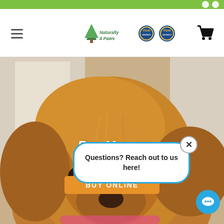[Figure (screenshot): Green top navigation bar of a pet products website]
[Figure (logo): Naturally 4 Paws logo with certification badge icons]
[Figure (photo): Close-up photo of a golden retriever dog looking at the camera]
Buy Ma...cs Available...A
Questions? Reach out to us here!
BUY ONLINE